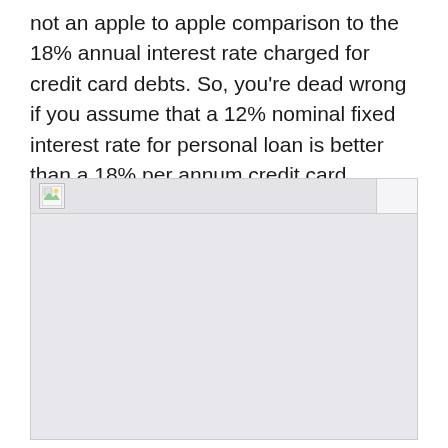not an apple to apple comparison to the 18% annual interest rate charged for credit card debts. So, you're dead wrong if you assume that a 12% nominal fixed interest rate for personal loan is better than a 18% per annum credit card interest rate.
[Figure (other): Broken/unloaded image placeholder with light gray background and a small broken image icon in the top-left corner]